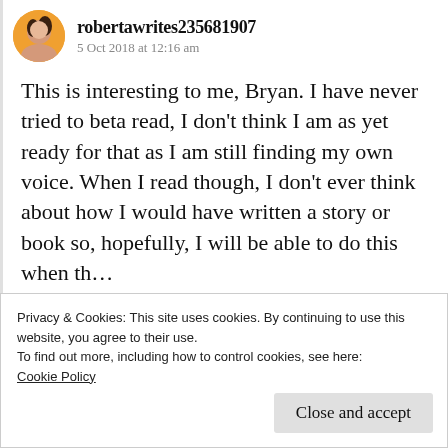robertawrites235681907 · 5 Oct 2018 at 12:16 am
This is interesting to me, Bryan. I have never tried to beta read, I don't think I am as yet ready for that as I am still finding my own voice. When I read though, I don't ever think about how I would have written a story or book so, hopefully, I will be able to do this when the time…
Privacy & Cookies: This site uses cookies. By continuing to use this website, you agree to their use.
To find out more, including how to control cookies, see here:
Cookie Policy
Close and accept